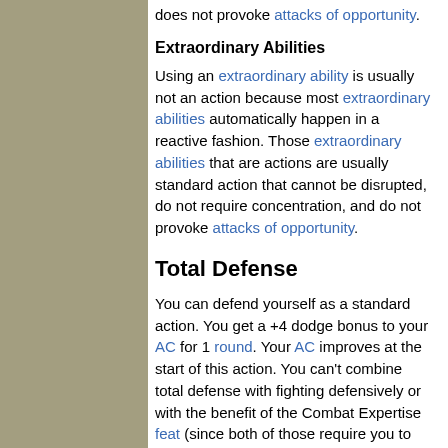does not provoke attacks of opportunity.
Extraordinary Abilities
Using an extraordinary ability is usually not an action because most extraordinary abilities automatically happen in a reactive fashion. Those extraordinary abilities that are actions are usually standard action that cannot be disrupted, do not require concentration, and do not provoke attacks of opportunity.
Total Defense
You can defend yourself as a standard action. You get a +4 dodge bonus to your AC for 1 round. Your AC improves at the start of this action. You can't combine total defense with fighting defensively or with the benefit of the Combat Expertise feat (since both of those require you to declare an attack or full attack). You can't make attacks of opportunity while using total defense.